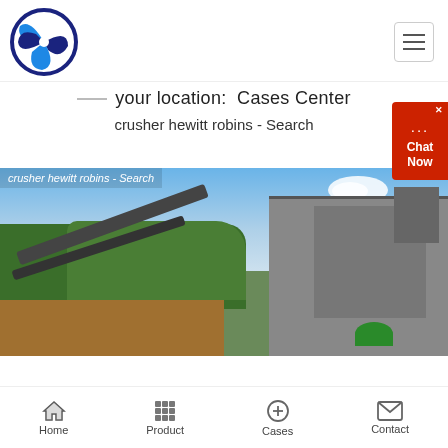[Figure (logo): Circular blue and dark blue stylized fan/turbine logo]
[Figure (screenshot): Hamburger menu button (three horizontal lines) in white box with border]
your location:  Cases Center
crusher hewitt robins - Search
[Figure (photo): Outdoor industrial quarry/crushing plant site with conveyor belts, machinery, trees and blue sky in background. Caption overlay: crusher hewitt robins - Search]
[Figure (infographic): Chat Now red widget in upper right corner]
Home  Product  Cases  Contact